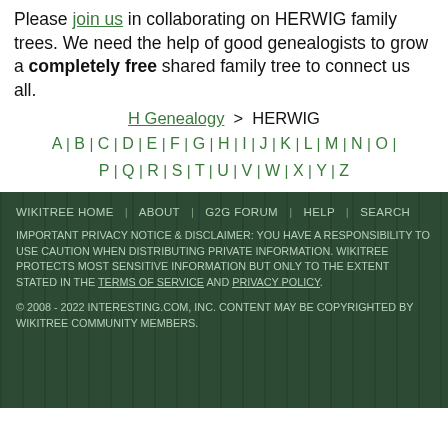Please join us in collaborating on HERWIG family trees. We need the help of good genealogists to grow a completely free shared family tree to connect us all.
H Genealogy > HERWIG
A | B | C | D | E | F | G | H | I | J | K | L | M | N | O | P | Q | R | S | T | U | V | W | X | Y | Z
WIKITREE HOME | ABOUT | G2G FORUM | HELP | SEARCH
IMPORTANT PRIVACY NOTICE & DISCLAIMER: YOU HAVE A RESPONSIBILITY TO USE CAUTION WHEN DISTRIBUTING PRIVATE INFORMATION. WIKITREE PROTECTS MOST SENSITIVE INFORMATION BUT ONLY TO THE EXTENT STATED IN THE TERMS OF SERVICE AND PRIVACY POLICY.
© 2008 - 2022 INTERESTING.COM, INC. CONTENT MAY BE COPYRIGHTED BY WIKITREE COMMUNITY MEMBERS.